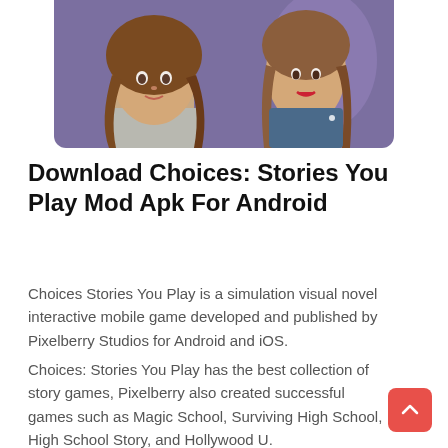[Figure (illustration): Illustrated game artwork showing two female characters with long brown hair against a purple background, cropped at the top of the page.]
Download Choices: Stories You Play Mod Apk For Android
Choices Stories You Play is a simulation visual novel interactive mobile game developed and published by Pixelberry Studios for Android and iOS.
Choices: Stories You Play has the best collection of story games, Pixelberry also created successful games such as Magic School, Surviving High School, High School Story, and Hollywood U.